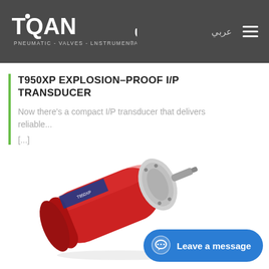ITQAN | PNEUMATIC - VALVES - INSTRUMENTATIN
T950XP EXPLOSION-PROOF I/P TRANSDUCER
Now there's a compact I/P transducer that delivers reliable...
[...]
[Figure (photo): Red cylindrical I/P transducer with metal end cap and shaft, positioned diagonally on white background]
Leave a message